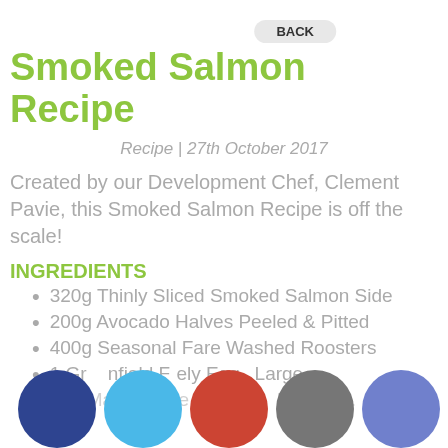BACK
Smoked Salmon Recipe
Recipe | 27th October 2017
Created by our Development Chef, Clement Pavie, this Smoked Salmon Recipe is off the scale!
INGREDIENTS
320g Thinly Sliced Smoked Salmon Side
200g Avocado Halves Peeled & Pitted
400g Seasonal Fare Washed Roosters
1 Grreenfield Freely Eggs Large
50g Mayonnaise Excellent Plain Fl...